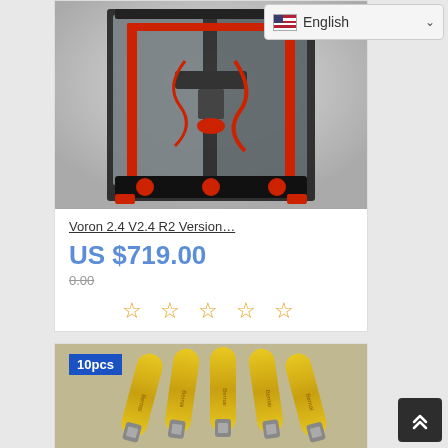[Figure (screenshot): Language selector dropdown showing English with US flag and chevron]
[Figure (photo): Voron 2.4 V2.4 R2 Version 3D printer with transparent enclosure, black and red frame]
Voron 2.4 V2.4 R2 Version…
US $719.00
0.00
[Figure (other): Five empty star rating icons in orange/yellow]
[Figure (photo): 10pcs yellow USB flash drives (Bernai brand) product listing image with blue badge showing 10pcs]